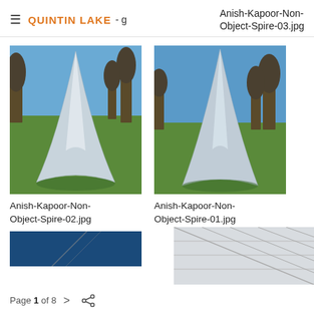QUINTIN LAKE - g   Anish-Kapoor-Non-Object-Spire-03.jpg
[Figure (photo): Silver metallic spire sculpture in a park setting with trees and blue sky, labeled Anish-Kapoor-Non-Object-Spire-02.jpg]
Anish-Kapoor-Non-Object-Spire-02.jpg
[Figure (photo): Silver metallic spire sculpture in a park setting with trees and blue sky, labeled Anish-Kapoor-Non-Object-Spire-01.jpg]
Anish-Kapoor-Non-Object-Spire-01.jpg
[Figure (photo): Partial thumbnail showing dark blue sky with a small diagonal element]
[Figure (photo): Partial thumbnail at bottom right showing glass roof structure]
Page 1 of 8  >  (share icon)